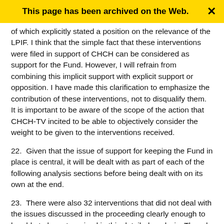This page has been archived on the Web.
of which explicitly stated a position on the relevance of the LPIF. I think that the simple fact that these interventions were filed in support of CHCH can be considered as support for the Fund. However, I will refrain from combining this implicit support with explicit support or opposition. I have made this clarification to emphasize the contribution of these interventions, not to disqualify them. It is important to be aware of the scope of the action that CHCH-TV incited to be able to objectively consider the weight to be given to the interventions received.
22.  Given that the issue of support for keeping the Fund in place is central, it will be dealt with as part of each of the following analysis sections before being dealt with on its own at the end.
23.  There were also 32 interventions that did not deal with the issues discussed in the proceeding clearly enough to be able to be categorized in this detailed analysis. Though